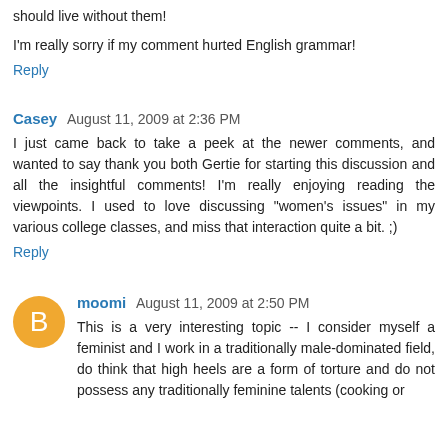should live without them!
I'm really sorry if my comment hurted English grammar!
Reply
Casey  August 11, 2009 at 2:36 PM
I just came back to take a peek at the newer comments, and wanted to say thank you both Gertie for starting this discussion and all the insightful comments! I'm really enjoying reading the viewpoints. I used to love discussing "women's issues" in my various college classes, and miss that interaction quite a bit. ;)
Reply
moomi  August 11, 2009 at 2:50 PM
This is a very interesting topic -- I consider myself a feminist and I work in a traditionally male-dominated field, do think that high heels are a form of torture and do not possess any traditionally feminine talents (cooking or